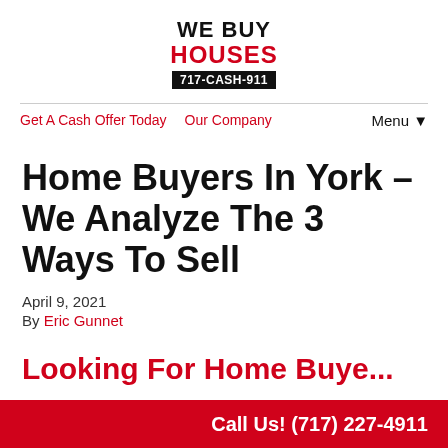WE BUY HOUSES 717-CASH-911
Get A Cash Offer Today   Our Company   Menu ▼
Home Buyers In York – We Analyze The 3 Ways To Sell
April 9, 2021
By Eric Gunnet
Looking For Home Buye...
Call Us! (717) 227-4911